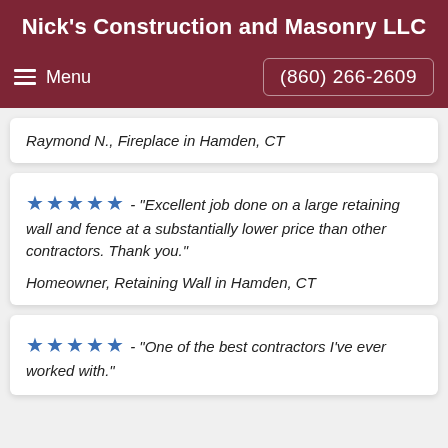Nick's Construction and Masonry LLC
Menu | (860) 266-2609
Raymond N., Fireplace in Hamden, CT
★★★★★ - "Excellent job done on a large retaining wall and fence at a substantially lower price than other contractors. Thank you."
Homeowner, Retaining Wall in Hamden, CT
★★★★★ - "One of the best contractors I've ever worked with."